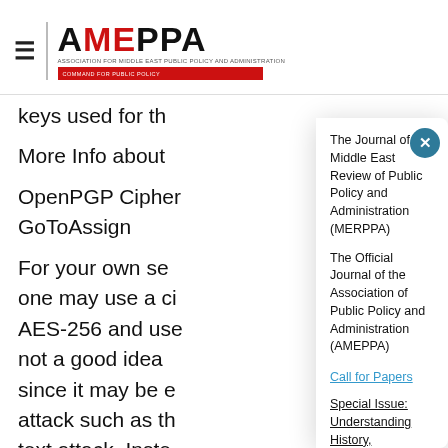AMEPPA - The Journal of Middle East Review of Public Policy and Administration (MERPPA)
keys used for th
More Info about
OpenPGP Cipher
GoToAssign
For your own se one may use a ci AES-256 and use not a good idea since it may be e attack such as th text attack. Inste passphrase of le Using less than 2 increase the difficulty of guessing the
The Journal of Middle East Review of Public Policy and Administration (MERPPA)
The Official Journal of the Association of Public Policy and Administration (AMEPPA)
Call for Papers
Special Issue: Understanding History, Negotiating Policy and Administration, and Moving Forward
Submit your Paper by March 30th, 2022